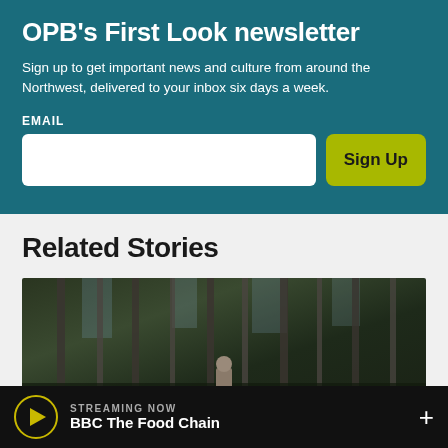OPB's First Look newsletter
Sign up to get important news and culture from around the Northwest, delivered to your inbox six days a week.
EMAIL
[Figure (screenshot): Email input field and Sign Up button on teal background]
Related Stories
[Figure (photo): A person standing in a dark forest among tall thin trees]
STREAMING NOW
BBC The Food Chain